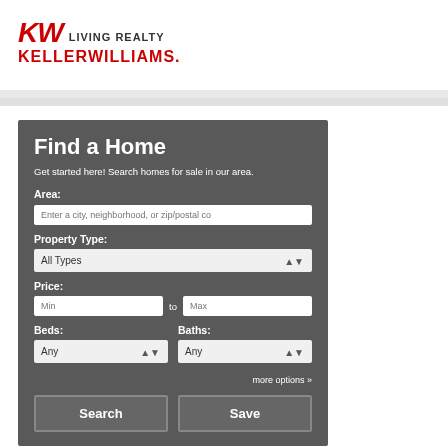[Figure (logo): Keller Williams Living Realty logo with KW letters in red italic and KELLERWILLIAMS. text in red]
[Figure (screenshot): Find a Home search widget with fields for Area, Property Type (All Types), Price (Min to Max), Beds (Any), Baths (Any), more options link, Search and Save buttons on dark gray background]